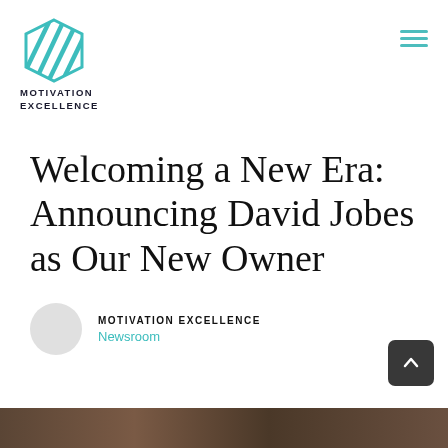[Figure (logo): Motivation Excellence logo: teal hexagonal/diamond geometric icon with diagonal stripe lines, above bold text MOTIVATION EXCELLENCE]
Welcoming a New Era: Announcing David Jobes as Our New Owner
MOTIVATION EXCELLENCE
Newsroom